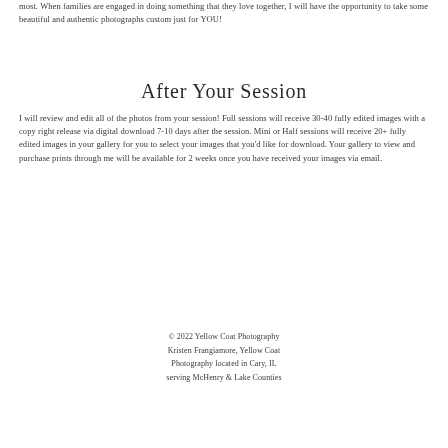most. When families are engaged in doing something that they love together, I will have the opportunity to take some beautiful and authentic photographs custom just for YOU!
After Your Session
I will review and edit all of the photos from your session! Full sessions will receive 30-40 fully edited images with a copy right release via digital download 7-10 days after the session. Mini or Half sessions will receive 20+ fully edited images in your gallery for you to select your images that you'd like for download. Your gallery to view and purchase prints through me will be available for 2 weeks once you have received your images via email.
© 2022 Yellow Coat Photography Kristen Frangiamore, Yellow Coat Photography located in Cary, IL serving McHenry & Lake Counties